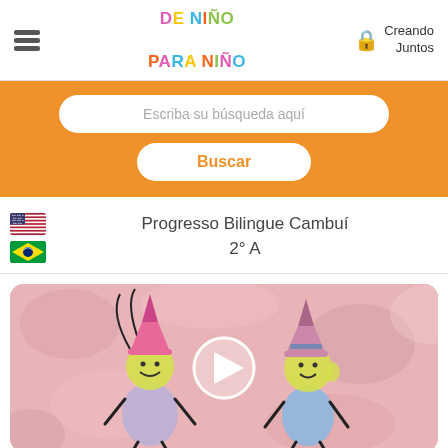DE NIÑO PARA NIÑO — Creando Juntos
Escriba su búsqueda aquí
Buscar
Progresso Bilingue Cambuí
2° A
[Figure (illustration): Children's drawing showing two cartoon witch figures with yellow round heads, pink hats, on a pink textured background. A circular play button is overlaid in the center.]